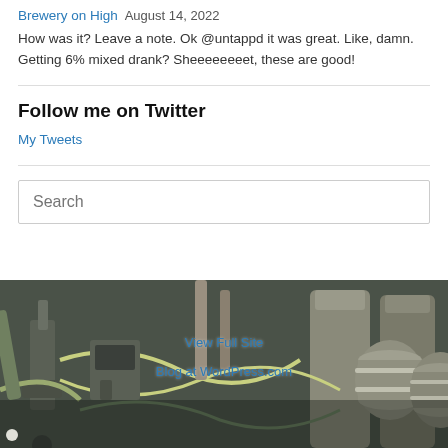Brewery on High August 14, 2022
How was it? Leave a note. Ok @untappd it was great. Like, damn. Getting 6% mixed drank? Sheeeeeeeet, these are good!
Follow me on Twitter
My Tweets
Search
[Figure (photo): Brewery equipment — kegs, pipes, tanks, hoses in an industrial brewing facility]
View Full Site
Blog at WordPress.com